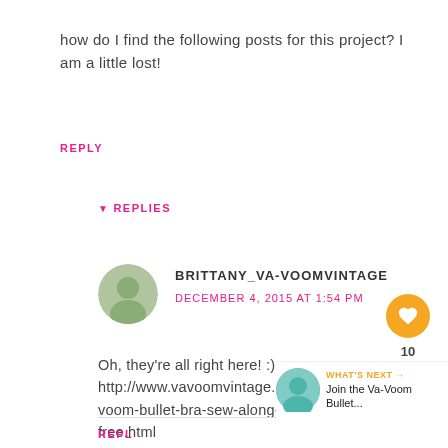how do I find the following posts for this project? I am a little lost!
REPLY
▼ REPLIES
BRITTANY_VA-VOOMVINTAGE
DECEMBER 4, 2015 AT 1:54 PM
Oh, they're all right here! :) http://www.vavoomvintage.net/p/va-voom-bullet-bra-sew-along-and-free.html
REPLY